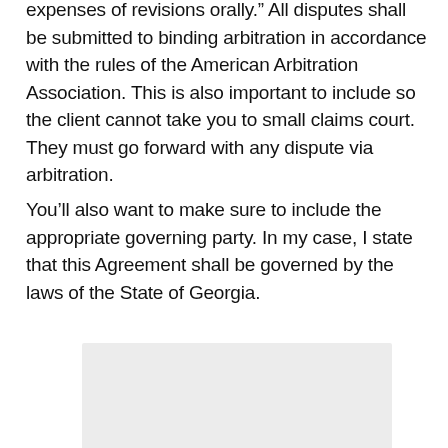expenses of revisions orally." All disputes shall be submitted to binding arbitration in accordance with the rules of the American Arbitration Association. This is also important to include so the client cannot take you to small claims court. They must go forward with any dispute via arbitration.
You'll also want to make sure to include the appropriate governing party. In my case, I state that this Agreement shall be governed by the laws of the State of Georgia.
[Figure (other): A light gray rectangular image placeholder below the text]